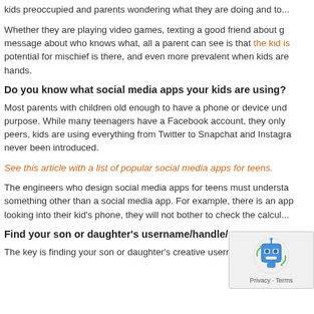kids preoccupied and parents wondering what they are doing and to...
Whether they are playing video games, texting a good friend about g... message about who knows what, all a parent can see is that the kid is... potential for mischief is there, and even more prevalent when kids are... hands.
Do you know what social media apps your kids are using?
Most parents with children old enough to have a phone or device und... purpose. While many teenagers have a Facebook account, they only... peers, kids are using everything from Twitter to Snapchat and Instagra... never been introduced.
See this article with a list of popular social media apps for teens.
The engineers who design social media apps for teens must understa... something other than a social media app. For example, there is an app... looking into their kid's phone, they will not bother to check the calcul...
Find your son or daughter's username/handle/screen nam...
The key is finding your son or daughter's creative username. Online is...